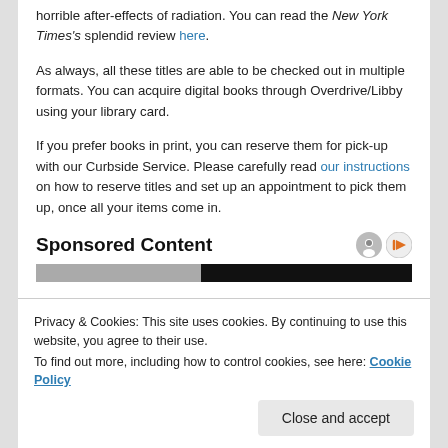horrible after-effects of radiation. You can read the New York Times's splendid review here.
As always, all these titles are able to be checked out in multiple formats. You can acquire digital books through Overdrive/Libby using your library card.
If you prefer books in print, you can reserve them for pick-up with our Curbside Service. Please carefully read our instructions on how to reserve titles and set up an appointment to pick them up, once all your items come in.
Sponsored Content
Privacy & Cookies: This site uses cookies. By continuing to use this website, you agree to their use. To find out more, including how to control cookies, see here: Cookie Policy